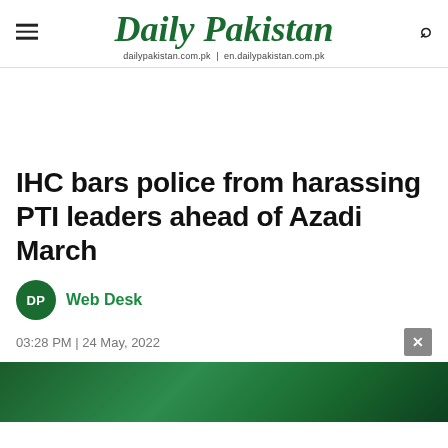Daily Pakistan — dailypakistan.com.pk | en.dailypakistan.com.pk
IHC bars police from harassing PTI leaders ahead of Azadi March
Web Desk
03:28 PM | 24 May, 2022
[Figure (photo): Photograph related to IHC bars police from harassing PTI leaders, showing a green/teal colored background with a Pakistani flag crescent symbol visible]